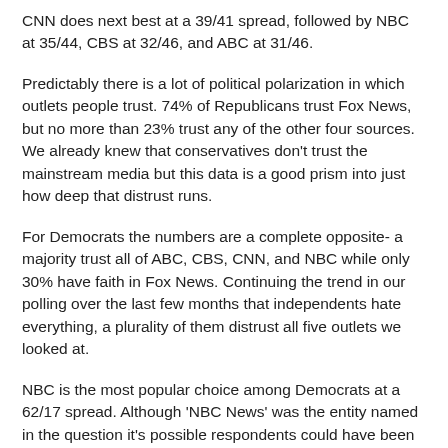CNN does next best at a 39/41 spread, followed by NBC at 35/44, CBS at 32/46, and ABC at 31/46.
Predictably there is a lot of political polarization in which outlets people trust. 74% of Republicans trust Fox News, but no more than 23% trust any of the other four sources. We already knew that conservatives don't trust the mainstream media but this data is a good prism into just how deep that distrust runs.
For Democrats the numbers are a complete opposite- a majority trust all of ABC, CBS, CNN, and NBC while only 30% have faith in Fox News. Continuing the trend in our polling over the last few months that independents hate everything, a plurality of them distrust all five outlets we looked at.
NBC is the most popular choice among Democrats at a 62/17 spread. Although 'NBC News' was the entity named in the question it's possible respondents could have been lumping MSNBC in with it given the good numbers on the left. At a 17/69 spread CBS was the least popular with